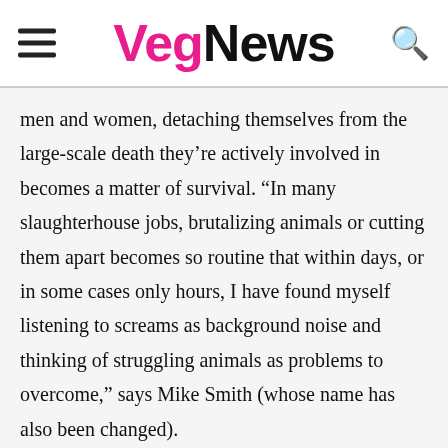VegNews
men and women, detaching themselves from the large-scale death they’re actively involved in becomes a matter of survival. “In many slaughterhouse jobs, brutalizing animals or cutting them apart becomes so routine that within days, or in some cases only hours, I have found myself listening to screams as background noise and thinking of struggling animals as problems to overcome,” says Mike Smith (whose name has also been changed).
The gruesome process of turning frightened animals into food has a lasting effect on slaughterhouse employees that transcends the killing floor. “Most workers become deadened to the fact that they are working with live